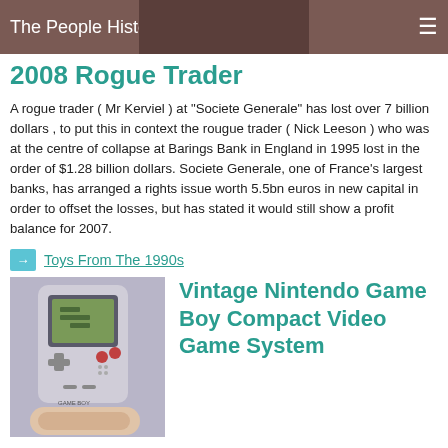The People History Home
2008 Rogue Trader
A rogue trader ( Mr Kerviel ) at "Societe Generale" has lost over 7 billion dollars , to put this in context the rougue trader ( Nick Leeson ) who was at the centre of collapse at Barings Bank in England in 1995 lost in the order of $1.28 billion dollars. Societe Generale, one of France's largest banks, has arranged a rights issue worth 5.5bn euros in new capital in order to offset the losses, but has stated it would still show a profit balance for 2007.
Toys From The 1990s
[Figure (photo): Vintage Nintendo Game Boy handheld video game system being held in a hand]
Vintage Nintendo Game Boy Compact Video Game System